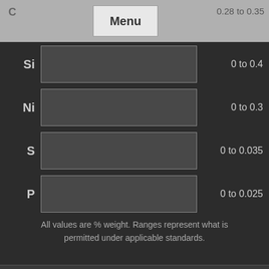C
Menu
0.28 to 0.35
Si  0 to 0.4
Ni  0 to 0.3
S  0 to 0.035
P  0 to 0.025
All values are % weight. Ranges represent what is permitted under applicable standards.
Followup Questions